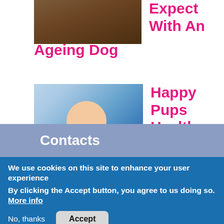[Figure (photo): Partial photo of an ageing dog, cropped at top]
Expect With An Ageing Dog
[Figure (photo): Person smiling and holding puppies]
Happy Pups Healthy Weight
Contacts
We use cookies on this site to enhance your user experience
By clicking the Accept button, you agree to us doing so. More info
No, thanks
Accept